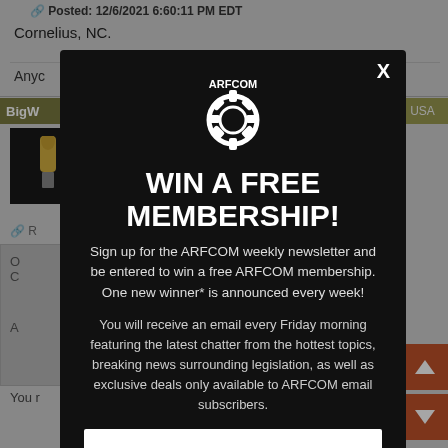Posted: 12/6/2021 6:60:11 PM EDT
Cornelius, NC.
Anyc
BigW
NC, USA
[Figure (screenshot): Background webpage of ARFCOM forum with user post, avatar, and reply sections]
[Figure (logo): ARFCOM gear logo in white]
WIN A FREE MEMBERSHIP!
Sign up for the ARFCOM weekly newsletter and be entered to win a free ARFCOM membership. One new winner* is announced every week!
You will receive an email every Friday morning featuring the latest chatter from the hottest topics, breaking news surrounding legislation, as well as exclusive deals only available to ARFCOM email subscribers.